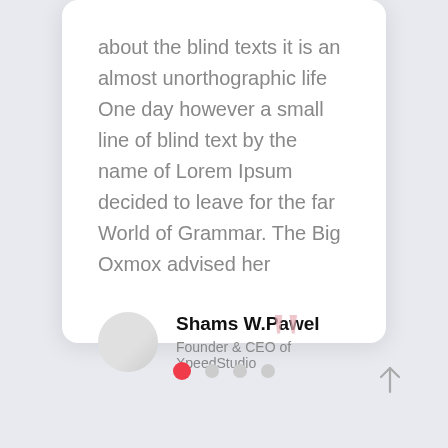about the blind texts it is an almost unorthographic life One day however a small line of blind text by the name of Lorem Ipsum decided to leave for the far World of Grammar. The Big Oxmox advised her
Shams W.Pawel
Founder & CEO of XpeedStudio
[Figure (illustration): Closing double quotation mark icon in light rose/pink color]
[Figure (illustration): Pagination dots: one active red dot and three grey dots]
[Figure (illustration): Upward arrow icon in grey]